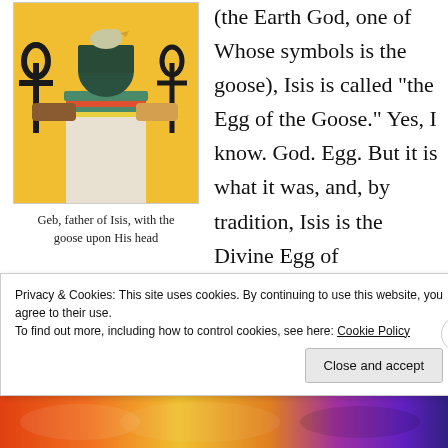[Figure (photo): Ancient Egyptian painted image of Geb, father of Isis, depicted with a goose upon his head, holding ankh symbols, on a yellow background.]
Geb, father of Isis, with the goose upon His head
(the Earth God, one of Whose symbols is the goose), Isis is called “the Egg of the Goose.” Yes, I know. God. Egg. But it is what it was, and, by tradition, Isis is the Divine Egg of Her father.
Yet Isis is a Bird Goddess Herself and has eggs of Her own, most notably Horus and the Horus-king. In
Privacy & Cookies: This site uses cookies. By continuing to use this website, you agree to their use.
To find out more, including how to control cookies, see here: Cookie Policy
Close and accept